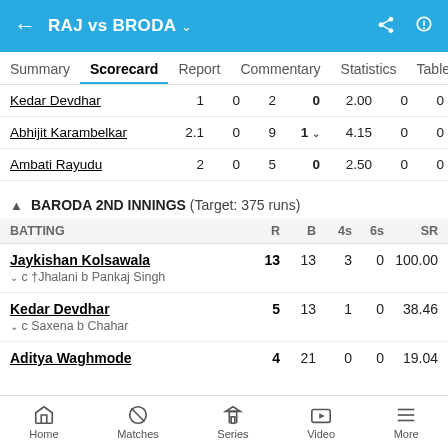RAJ vs BRODA
Summary | Scorecard | Report | Commentary | Statistics | Table
| Player | O | M | R | W | Econ | WD | NB |
| --- | --- | --- | --- | --- | --- | --- | --- |
| Kedar Devdhar | 1 | 0 | 2 | 0 | 2.00 | 0 | 0 |
| Abhijit Karambelkar | 2.1 | 0 | 9 | 1 | 4.15 | 0 | 0 |
| Ambati Rayudu | 2 | 0 | 5 | 0 | 2.50 | 0 | 0 |
BARODA 2ND INNINGS (Target: 375 runs)
| BATTING | R | B | 4s | 6s | SR |
| --- | --- | --- | --- | --- | --- |
| Jaykishan Kolsawala | 13 | 13 | 3 | 0 | 100.00 |
| c †Jhalani b Pankaj Singh |  |  |  |  |  |
| Kedar Devdhar | 5 | 13 | 1 | 0 | 38.46 |
| c Saxena b Chahar |  |  |  |  |  |
| Aditya Waghmode | 4 | 21 | 0 | 0 | 19.04 |
Home  Matches  Series  Video  More